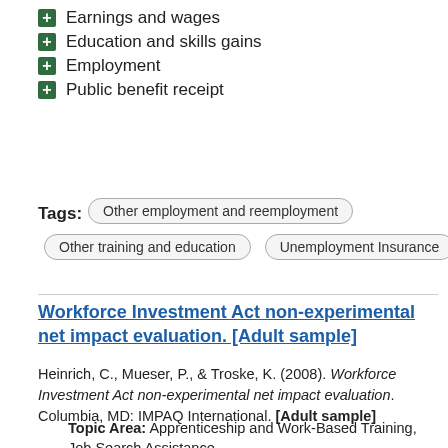Earnings and wages
Education and skills gains
Employment
Public benefit receipt
Tags: Other employment and reemployment | Other training and education | Unemployment Insurance
Workforce Investment Act non-experimental net impact evaluation. [Adult sample]
Heinrich, C., Mueser, P., & Troske, K. (2008). Workforce Investment Act non-experimental net impact evaluation. Columbia, MD: IMPAQ International. [Adult sample]
Topic Area: Apprenticeship and Work-Based Training, Job Search Assistance